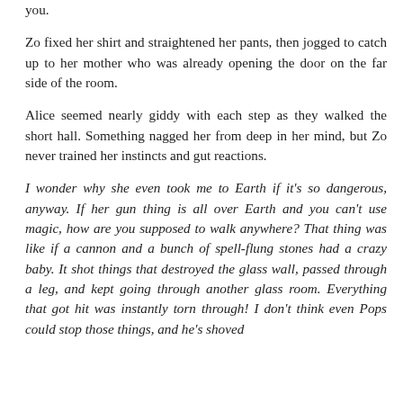you.
Zo fixed her shirt and straightened her pants, then jogged to catch up to her mother who was already opening the door on the far side of the room.
Alice seemed nearly giddy with each step as they walked the short hall. Something nagged her from deep in her mind, but Zo never trained her instincts and gut reactions.
I wonder why she even took me to Earth if it's so dangerous, anyway. If her gun thing is all over Earth and you can't use magic, how are you supposed to walk anywhere? That thing was like if a cannon and a bunch of spell-flung stones had a crazy baby. It shot things that destroyed the glass wall, passed through a leg, and kept going through another glass room. Everything that got hit was instantly torn through! I don't think even Pops could stop those things, and he's shoved